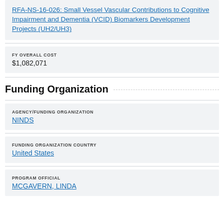RFA-NS-16-026: Small Vessel Vascular Contributions to Cognitive Impairment and Dementia (VCID) Biomarkers Development Projects (UH2/UH3)
FY OVERALL COST
$1,082,071
Funding Organization
AGENCY/FUNDING ORGANIZATION
NINDS
FUNDING ORGANIZATION COUNTRY
United States
PROGRAM OFFICIAL
MCGAVERN, LINDA